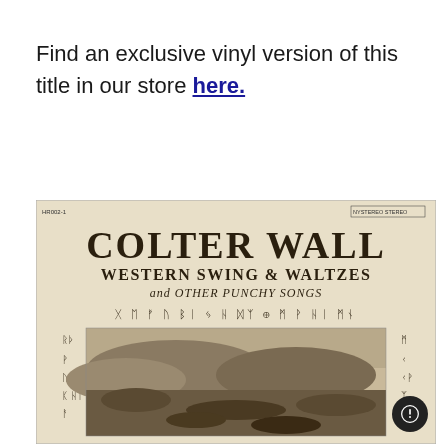Find an exclusive vinyl version of this title in our store here.
[Figure (photo): Album cover photograph of Colter Wall 'Western Swing & Waltzes and Other Punchy Songs' vinyl record. Cream/beige colored sleeve with large serif text 'COLTER WALL' and subtitle 'WESTERN SWING & WALTZES and OTHER PUNCHY SONGS'. Decorative runic/symbolic characters border a landscape photograph showing rocky terrain. Small label text 'HR002-1' top left and 'NYSTEREO STEREO' top right.]